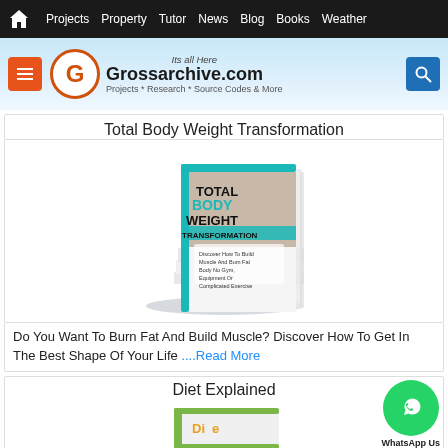Home Projects Property Tutor News Blog Books Weather
[Figure (logo): Grossarchive.com website logo with orange G circle and menu/search buttons]
Total Body Weight Transformation
[Figure (photo): Book cover stack for Total Body Weight Transformation]
Do You Want To Burn Fat And Build Muscle? Discover How To Get In The Best Shape Of Your Life ....Read More
Diet Explained
[Figure (photo): Diet Explained book cover partially visible]
[Figure (other): WhatsApp Us floating button]